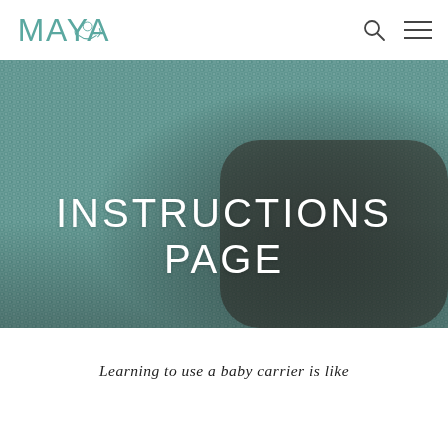MAYA
[Figure (photo): Close-up macro photograph of woven fabric texture in teal/grey tones with the heading INSTRUCTIONS PAGE overlaid in white text]
INSTRUCTIONS PAGE
Learning to use a baby carrier is like